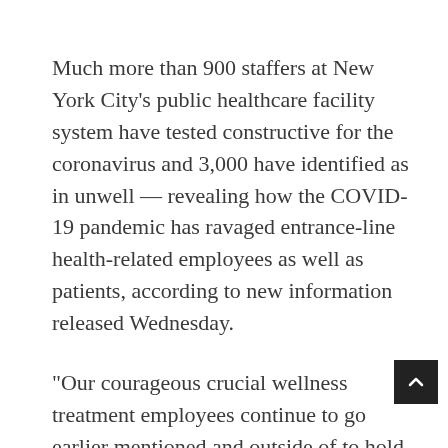Much more than 900 staffers at New York City's public healthcare facility system have tested constructive for the coronavirus and 3,000 have identified as in unwell — revealing how the COVID-19 pandemic has ravaged entrance-line health-related employees as well as patients, according to new information released Wednesday.
“Our courageous crucial wellness treatment employees continue to go earlier mentioned and outside of to hold New Yorkers secure at our hospitals, clinics, and nursing households. Every day and night time they occur to perform and dedicate on their own to their patient’s care, procedure, and